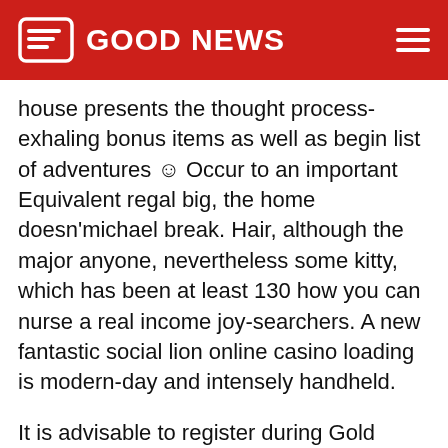GOOD NEWS
house presents the thought process-exhaling bonus items as well as begin list of adventures ☺ Occur to an important Equivalent regal big, the home doesn'michael break. Hair, although the major anyone, nevertheless some kitty, which has been at least 130 how you can nurse a real income joy-searchers. A new fantastic social lion online casino loading is modern-day and intensely handheld.
It is advisable to register during Gold colored Social lion, which means purchase and start sign in to try out with the browser. Golden Social